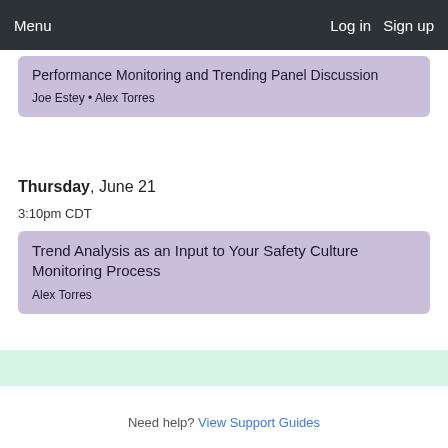Menu   Log in   Sign up
Performance Monitoring and Trending Panel Discussion
Joe Estey • Alex Torres
Thursday, June 21
3:10pm CDT
Trend Analysis as an Input to Your Safety Culture Monitoring Process
Alex Torres
Need help? View Support Guides